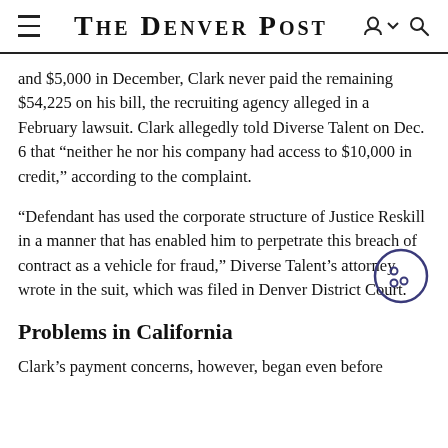THE DENVER POST
and $5,000 in December, Clark never paid the remaining $54,225 on his bill, the recruiting agency alleged in a February lawsuit. Clark allegedly told Diverse Talent on Dec. 6 that “neither he nor his company had access to $10,000 in credit,” according to the complaint.
“Defendant has used the corporate structure of Justice Reskill in a manner that has enabled him to perpetrate this breach of contract as a vehicle for fraud,” Diverse Talent’s attorney wrote in the suit, which was filed in Denver District Court.
Problems in California
Clark’s payment concerns, however, began even before